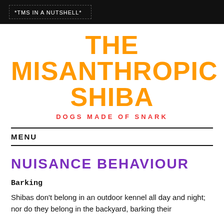*TMS IN A NUTSHELL*
THE MISANTHROPIC SHIBA
DOGS MADE OF SNARK
MENU
NUISANCE BEHAVIOUR
Barking
Shibas don't belong in an outdoor kennel all day and night; nor do they belong in the backyard, barking their